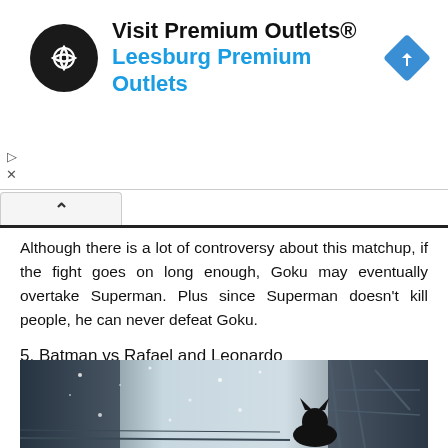[Figure (screenshot): Advertisement banner for Visit Premium Outlets® - Leesburg Premium Outlets with circular logo and navigation icon]
Although there is a lot of controversy about this matchup, if the fight goes on long enough, Goku may eventually overtake Superman. Plus since Superman doesn't kill people, he can never defeat Goku.
5. Batman vs Rafael and Leonardo
[Figure (photo): Black and white snowy scene with a silhouette of a cat/animal in foreground, urban building and fire escape in background with falling snow]